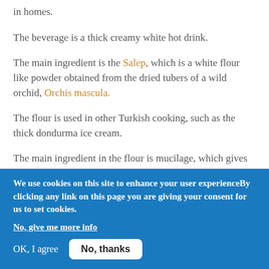in homes.
The beverage is a thick creamy white hot drink.
The main ingredient is the Salep, which is a white flour like powder obtained from the dried tubers of a wild orchid, Orchis mascula.
The flour is used in other Turkish cooking, such as the thick dondurma ice cream.
The main ingredient in the flour is mucilage, which gives sahlab its thick characteristic.
In Egypt, salep powder is kept and used for years. However, in Turkey, it is seasonal, and consumption of last year's crop
We use cookies on this site to enhance your user experienceBy clicking any link on this page you are giving your consent for us to set cookies.
No, give me more info
OK, I agree
No, thanks